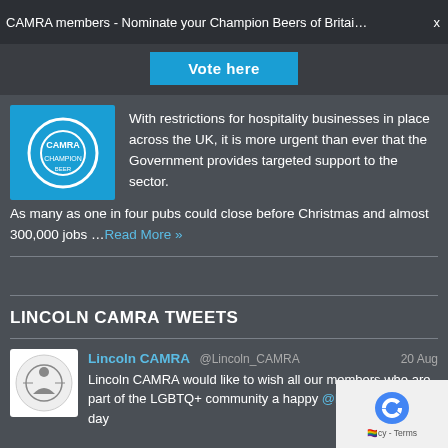CAMRA members - Nominate your Champion Beers of Britai…
[Figure (other): Vote here button - blue button on dark bar]
[Figure (logo): CAMRA logo - blue square with white circular emblem]
With restrictions for hospitality businesses in place across the UK, it is more urgent than ever that the Government provides targeted support to the sector.
As many as one in four pubs could close before Christmas and almost 300,000 jobs …Read More »
LINCOLN CAMRA TWEETS
[Figure (photo): Lincoln CAMRA Twitter avatar - circular logo on white background]
Lincoln CAMRA @Lincoln_CAMRA 20 Aug Lincoln CAMRA would like to wish all our members who are part of the LGBTQ+ community a happy @lincolnprideuk day
[Figure (logo): reCAPTCHA logo and Privacy - Terms text]